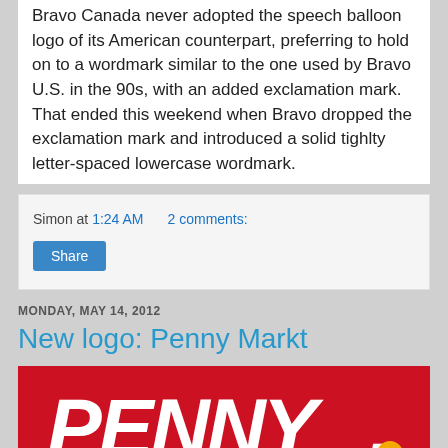Bravo Canada never adopted the speech balloon logo of its American counterpart, preferring to hold on to a wordmark similar to the one used by Bravo U.S. in the 90s, with an added exclamation mark. That ended this weekend when Bravo dropped the exclamation mark and introduced a solid tightly letter-spaced lowercase wordmark.
Simon at 1:24 AM   2 comments:
Share
MONDAY, MAY 14, 2012
New logo: Penny Markt
[Figure (logo): Penny Markt logo: white bold italic text 'PENNY.' with an orange/yellow dot replacing the period, on a red background.]